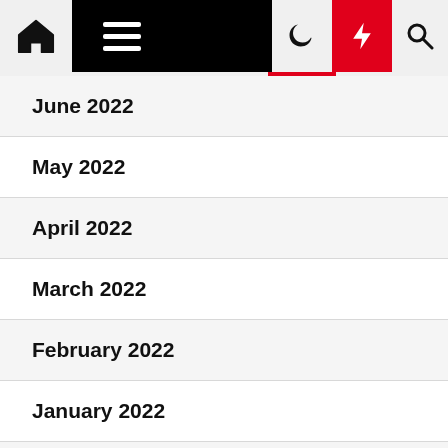Navigation bar with home, menu, moon, lightning, and search icons
June 2022
May 2022
April 2022
March 2022
February 2022
January 2022
December 2021
November 2021
October 2021